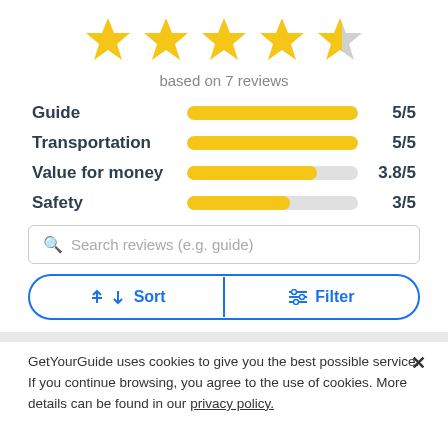[Figure (other): 5 stars rating display: 4 full gold stars and 1 half gold/grey star]
based on 7 reviews
| Category | Bar | Score |
| --- | --- | --- |
| Guide | 5/5 full bar | 5/5 |
| Transportation | 5/5 full bar | 5/5 |
| Value for money | 3.8/5 partial bar | 3.8/5 |
| Safety | 3/5 partial bar | 3/5 |
Search reviews (e.g. guide)
Sort   Filter
GetYourGuide uses cookies to give you the best possible service. If you continue browsing, you agree to the use of cookies. More details can be found in our privacy policy.